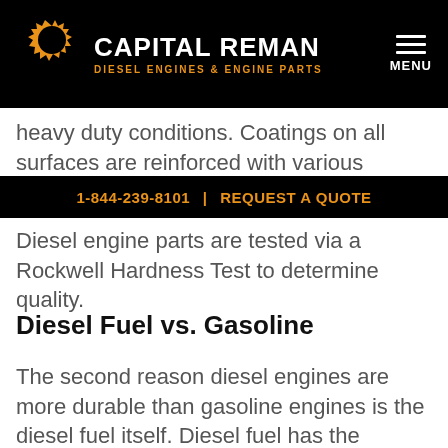[Figure (logo): Capital Reman logo — gear icon with white C/swoosh on orange gear background, text CAPITAL REMAN in white bold uppercase, subtitle DIESEL ENGINES & ENGINE PARTS in orange uppercase, on black header bar with hamburger menu and MENU text on right]
heavy duty conditions. Coatings on all surfaces are reinforced with various composite materials to make them harder.
1-844-239-8101 | REQUEST A QUOTE
Diesel engine parts are tested via a Rockwell Hardness Test to determine quality.
Diesel Fuel vs. Gasoline
The second reason diesel engines are more durable than gasoline engines is the diesel fuel itself. Diesel fuel has the consistency of a light oil which means it lubricates as it